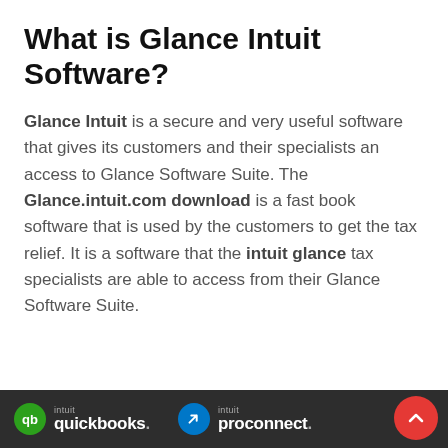What is Glance Intuit Software?
Glance Intuit is a secure and very useful software that gives its customers and their specialists an access to Glance Software Suite. The Glance.intuit.com download is a fast book software that is used by the customers to get the tax relief. It is a software that the intuit glance tax specialists are able to access from their Glance Software Suite.
[Figure (screenshot): Dark footer bar with QuickBooks and ProConnect logos/branding on dark background, plus a red scroll-to-top button]